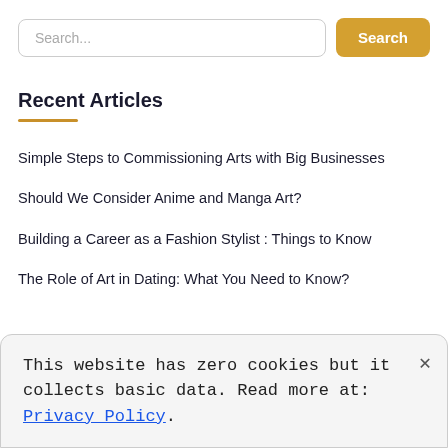[Figure (screenshot): Search bar with text input placeholder 'Search...' and an orange 'Search' button]
Recent Articles
Simple Steps to Commissioning Arts with Big Businesses
Should We Consider Anime and Manga Art?
Building a Career as a Fashion Stylist : Things to Know
The Role of Art in Dating: What You Need to Know?
This website has zero cookies but it collects basic data. Read more at: Privacy Policy.